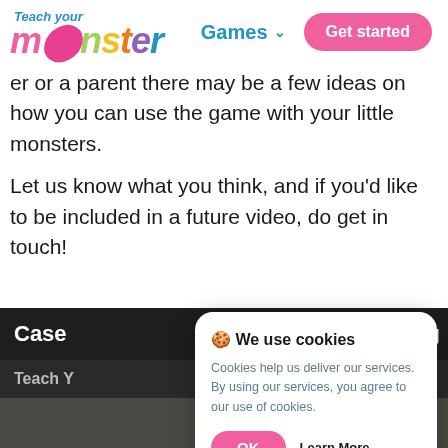Games  Get started
[Figure (logo): Teach your monster logo - colorful monster lettering with 'Teach your' above in blue italic]
er or a parent there may be a few ideas on how you can use the game with your little monsters.

Let us know what you think, and if you'd like to be included in a future video, do get in touch!
[Figure (screenshot): Dark game interface screenshot showing 'Case' label and 'Teach Y...' subtitle, partially obscured by cookie consent dialog]
🍪 We use cookies

Cookies help us deliver our services. By using our services, you agree to our use of cookies.

OK   Learn More